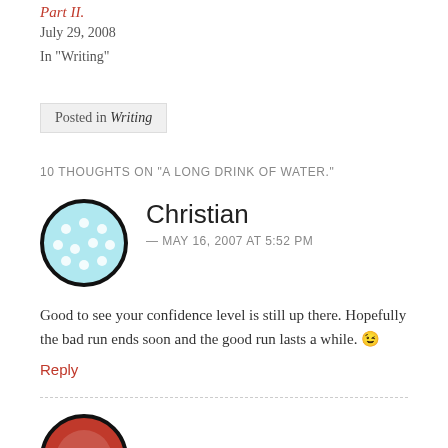Part II.
July 29, 2008
In "Writing"
Posted in Writing
10 THOUGHTS ON "A LONG DRINK OF WATER."
[Figure (illustration): Circular avatar with light blue background and white polka dots, thick black border]
Christian
— MAY 16, 2007 AT 5:52 PM
Good to see your confidence level is still up there. Hopefully the bad run ends soon and the good run lasts a while. 😉
Reply
[Figure (illustration): Circular avatar with dark red/crimson background, thick black border, partially visible at bottom]